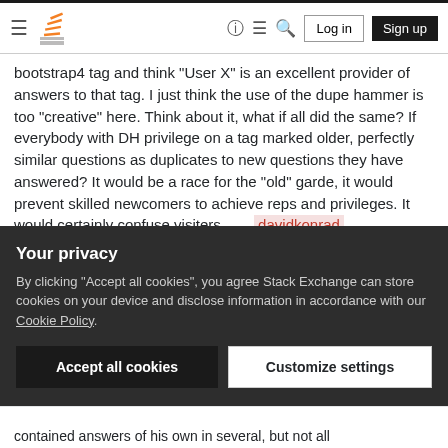Stack Exchange navigation header with hamburger menu, logo, help, chat, search icons, Log in and Sign up buttons
bootstrap4 tag and think "User X" is an excellent provider of answers to that tag. I just think the use of the dupe hammer is too "creative" here. Think about it, what if all did the same? If everybody with DH privilege on a tag marked older, perfectly similar questions as duplicates to new questions they have answered? It would be a race for the "old" garde, it would prevent skilled newcomers to achieve reps and privileges. It would certainly confuse visiters ... – davidkonrad Aug 11, 2018 at 19:47
See my answer to the linked duplicate for my rationale here. Let's handle abuse on a case by case basis. – Shog9 Aug 11, 2018 at 23:33
Your privacy
By clicking "Accept all cookies", you agree Stack Exchange can store cookies on your device and disclose information in accordance with our Cookie Policy.
contained answers of his own in several, but not all